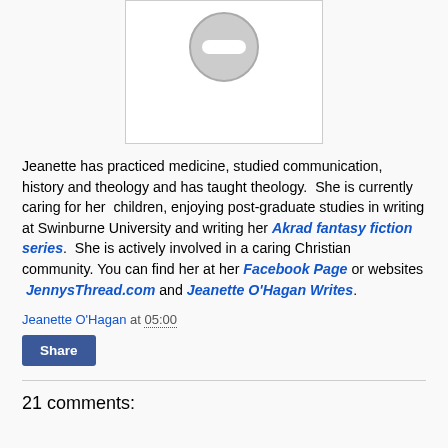[Figure (illustration): Profile image placeholder: white box with a gray circle containing a minus/block symbol (dash inside circle), indicating a blocked or missing profile photo.]
Jeanette has practiced medicine, studied communication, history and theology and has taught theology. She is currently caring for her children, enjoying post-graduate studies in writing at Swinburne University and writing her Akrad fantasy fiction series. She is actively involved in a caring Christian community. You can find her at her Facebook Page or websites JennysThread.com and Jeanette O'Hagan Writes.
Jeanette O'Hagan at 05:00
Share
21 comments: